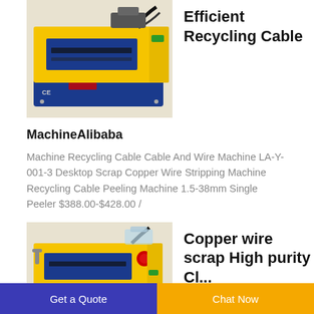[Figure (photo): Yellow and blue desktop cable wire stripping/recycling machine with CE mark, shown from front-left angle]
Efficient Recycling Cable
MachineAlibaba
Machine Recycling Cable Cable And Wire Machine LA-Y-001-3 Desktop Scrap Copper Wire Stripping Machine Recycling Cable Peeling Machine 1.5-38mm Single Peeler $388.00-$428.00 /
[Figure (photo): Yellow and blue desktop copper wire scrap stripping machine with CE mark and red emergency stop button, shown from front-left angle]
Copper wire scrap High purity Cl...
Get a Quote  |  Chat Now